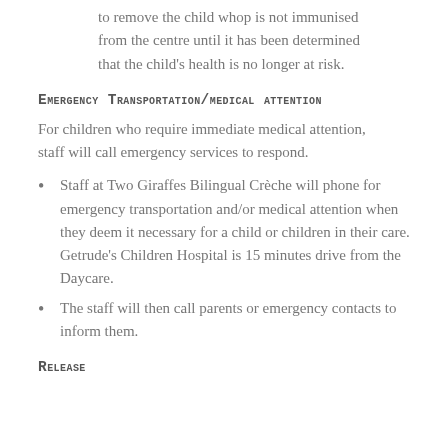to remove the child whop is not immunised from the centre until it has been determined that the child's health is no longer at risk.
Emergency Transportation/medical attention
For children who require immediate medical attention, staff will call emergency services to respond.
Staff at Two Giraffes Bilingual Crèche will phone for emergency transportation and/or medical attention when they deem it necessary for a child or children in their care. Getrude's Children Hospital is 15 minutes drive from the Daycare.
The staff will then call parents or emergency contacts to inform them.
Release